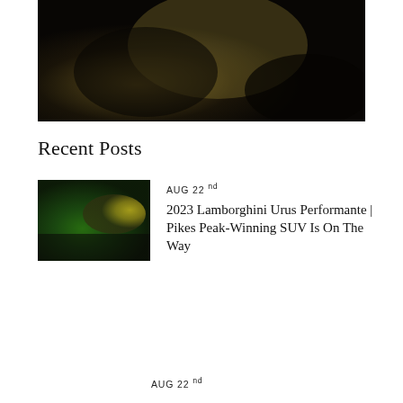[Figure (photo): Close-up photo of a shiny metallic olive/gold fabric or material with dramatic folds and shadows]
Recent Posts
[Figure (photo): Photo of two Lamborghini Urus SUVs — one green in foreground, one yellow in background — in a showroom]
AUG 22 nd
2023 Lamborghini Urus Performante | Pikes Peak-Winning SUV Is On The Way
AUG 22 nd